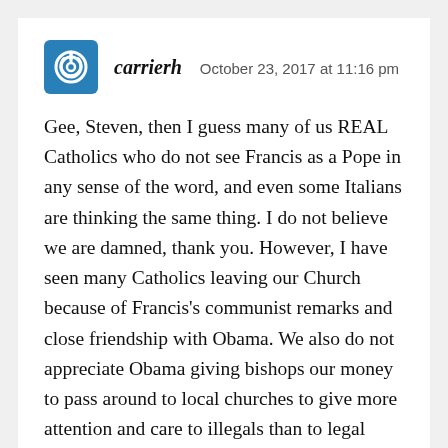carrierh   October 23, 2017 at 11:16 pm
Gee, Steven, then I guess many of us REAL Catholics who do not see Francis as a Pope in any sense of the word, and even some Italians are thinking the same thing. I do not believe we are damned, thank you. However, I have seen many Catholics leaving our Church because of Francis's communist remarks and close friendship with Obama. We also do not appreciate Obama giving bishops our money to pass around to local churches to give more attention and care to illegals than to legal citizens in the parish. If I and others are damned, then why do we many continue our